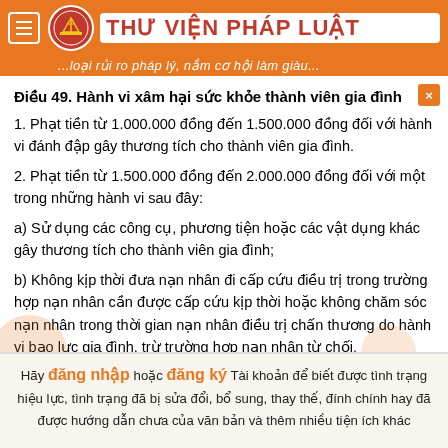THƯ VIỆN PHÁP LUẬT — ...loại rủi ro pháp lý, nắm cơ hội làm giàu...
Điều 49. Hành vi xâm hại sức khỏe thành viên gia đình
1. Phạt tiền từ 1.000.000 đồng đến 1.500.000 đồng đối với hành vi đánh đập gây thương tích cho thành viên gia đình.
2. Phạt tiền từ 1.500.000 đồng đến 2.000.000 đồng đối với một trong những hành vi sau đây:
a) Sử dụng các công cụ, phương tiện hoặc các vật dụng khác gây thương tích cho thành viên gia đình;
b) Không kịp thời đưa nạn nhân đi cấp cứu điều trị trong trường hợp nạn nhân cần được cấp cứu kịp thời hoặc không chăm sóc nạn nhân trong thời gian nạn nhân điều trị chấn thương do hành vi bạo lực gia đình, trừ trường hợp nạn nhân từ chối.
3. Biện pháp khắc phục hậu quả:
Hãy đăng nhập hoặc đăng ký Tài khoản để biết được tình trạng hiệu lực, tình trạng đã bị sửa đổi, bổ sung, thay thế, đính chính hay đã được hướng dẫn chưa của văn bản và thêm nhiều tiện ích khác